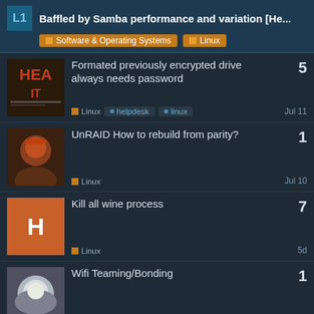Baffled by Samba performance and variation [He...
Formated previously encrypted drive always needs password | Linux • helpdesk • linux | 5 | Jul 11
UnRAID How to rebuild from parity? | Linux | 1 | Jul 10
Kill all wine process | Linux | 7 | 5d
Wifi Teaming/Bonding | Linux • linux • networking | 1 | Jul 16
The Best way to hide KVM from Guest OS - Wendell method? | Linux • helpdesk • video-games • vfio | 1 | Jul 17